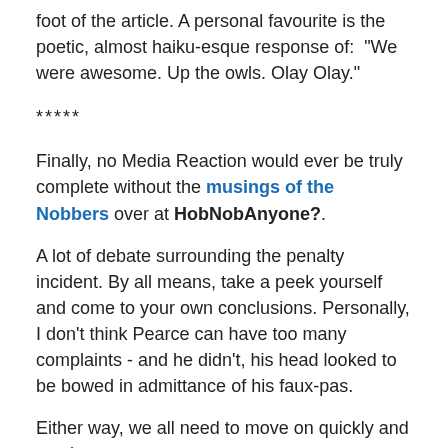foot of the article. A personal favourite is the poetic, almost haiku-esque response of:  "We were awesome. Up the owls. Olay Olay."
*****
Finally, no Media Reaction would ever be truly complete without the musings of the Nobbers over at HobNobAnyone?.
A lot of debate surrounding the penalty incident. By all means, take a peek yourself and come to your own conclusions. Personally, I don't think Pearce can have too many complaints - and he didn't, his head looked to be bowed in admittance of his faux-pas.
Either way, we all need to move on quickly and steel...